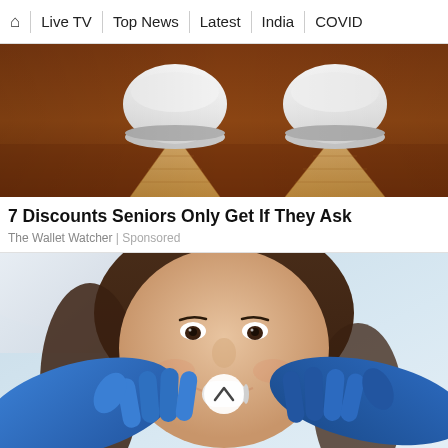⌂ | Live TV | Top News | Latest | India | COVID
[Figure (photo): Close-up photo of two white ceramic sugar bowls stacked in waffle ice cream cones on a brown wooden surface]
7 Discounts Seniors Only Get If They Ask
The Wallet Watcher | Sponsored
[Figure (photo): A smiling young woman at a dentist office with a dental professional wearing blue gloves holding a dental tool near her mouth, with a scroll-up button overlay in the center]